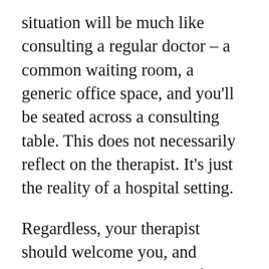situation will be much like consulting a regular doctor – a common waiting room, a generic office space, and you'll be seated across a consulting table. This does not necessarily reflect on the therapist. It's just the reality of a hospital setting.
Regardless, your therapist should welcome you, and introduce themselves briefly. They will then ask you why you've chosen to see a therapist (and perhaps why them in particular), and what are the problems that you're facing. They'll also try and understand your background a bit – where you come from, significant people in your life, and